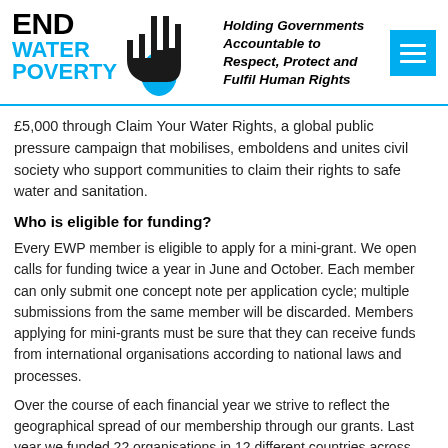[Figure (logo): End Water Poverty logo with hand and water drop, alongside tagline and hamburger menu button]
£5,000 through Claim Your Water Rights, a global public pressure campaign that mobilises, emboldens and unites civil society who support communities to claim their rights to safe water and sanitation.
Who is eligible for funding?
Every EWP member is eligible to apply for a mini-grant. We open calls for funding twice a year in June and October. Each member can only submit one concept note per application cycle; multiple submissions from the same member will be discarded. Members applying for mini-grants must be sure that they can receive funds from international organisations according to national laws and processes.
Over the course of each financial year we strive to reflect the geographical spread of our membership through our grants. Last year we funded 22 organisations in 12 different countries across Africa, Asia and Latin America. To ensure funds are distributed fairly among EWP's different regional constituencies, we will provide a maximum of two